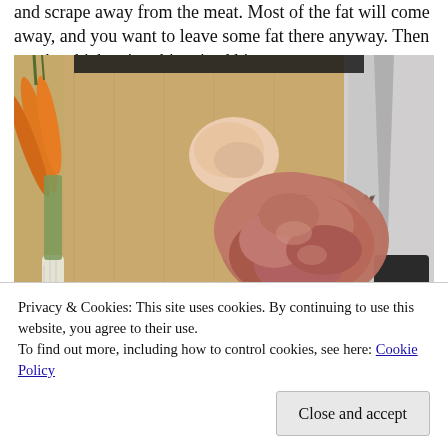and scrape away from the meat. Most of the fat will come away, and you want to leave some fat there anyway. Then cut the chicken into bite-sized bits.
[Figure (photo): A wooden cutting board with raw chicken pieces cut into bite-sized bits, carrots and green onion/leek on the left side, and a large chef's knife on the right side.]
Privacy & Cookies: This site uses cookies. By continuing to use this website, you agree to their use.
To find out more, including how to control cookies, see here: Cookie Policy
Close and accept